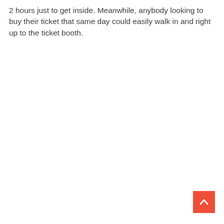2 hours just to get inside. Meanwhile, anybody looking to buy their ticket that same day could easily walk in and right up to the ticket booth.
[Figure (other): Back-to-top button: red square with white upward-pointing chevron arrow]